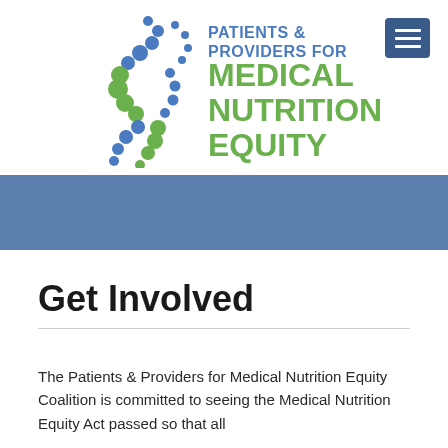[Figure (logo): Patients & Providers for Medical Nutrition Equity logo with DNA helix design in blue and green dots on the left, and text on the right reading 'PATIENTS & PROVIDERS FOR MEDICAL NUTRITION EQUITY']
Get Involved
The Patients & Providers for Medical Nutrition Equity Coalition is committed to seeing the Medical Nutrition Equity Act passed so that all